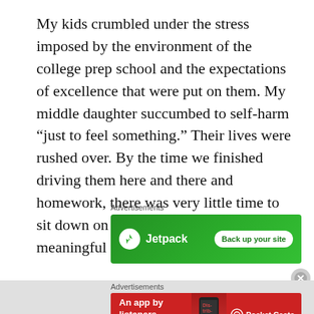My kids crumbled under the stress imposed by the environment of the college prep school and the expectations of excellence that were put on them. My middle daughter succumbed to self-harm “just to feel something.” Their lives were rushed over. By the time we finished driving them here and there and homework, there was very little time to sit down on their beds and have meaningful talks with them.
Advertisements
[Figure (other): Jetpack advertisement banner with green background showing Jetpack logo and 'Back up your site' button]
Advertisements
[Figure (other): Pocket Casts advertisement banner with red background showing 'An app by listeners, for listeners.' text and Pocket Casts logo with phone image]